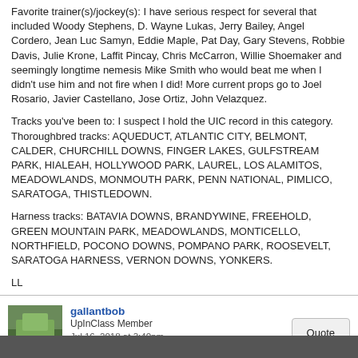Favorite trainer(s)/jockey(s): I have serious respect for several that included Woody Stephens, D. Wayne Lukas, Jerry Bailey, Angel Cordero, Jean Luc Samyn, Eddie Maple, Pat Day, Gary Stevens, Robbie Davis, Julie Krone, Laffit Pincay, Chris McCarron, Willie Shoemaker and seemingly longtime nemesis Mike Smith who would beat me when I didn't use him and not fire when I did! More current props go to Joel Rosario, Javier Castellano, Jose Ortiz, John Velazquez.
Tracks you've been to: I suspect I hold the UIC record in this category. Thoroughbred tracks: AQUEDUCT, ATLANTIC CITY, BELMONT, CALDER, CHURCHILL DOWNS, FINGER LAKES, GULFSTREAM PARK, HIALEAH, HOLLYWOOD PARK, LAUREL, LOS ALAMITOS, MEADOWLANDS, MONMOUTH PARK, PENN NATIONAL, PIMLICO, SARATOGA, THISTLEDOWN.
Harness tracks: BATAVIA DOWNS, BRANDYWINE, FREEHOLD, GREEN MOUNTAIN PARK, MEADOWLANDS, MONTICELLO, NORTHFIELD, POCONO DOWNS, POMPANO PARK, ROOSEVELT, SARATOGA HARNESS, VERNON DOWNS, YONKERS.
LL
gallantbob
UpInClass Member
Jul 16, 2018 at 3:40pm